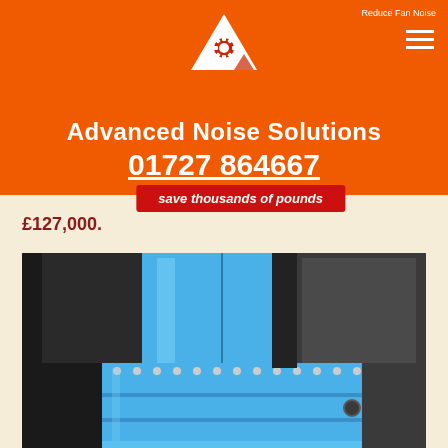Reduce Fan Noise
[Figure (logo): Red triangle logo with white gear/cog icon inside, on orange background]
Advanced Noise Solutions
01727 864667
save thousands of pounds
£127,000.
[Figure (photo): A large blue industrial fan silencer/noise enclosure unit with bolted flanges, shown against a dark background. The unit is blue metal with visible mounting bolts and structural panels.]